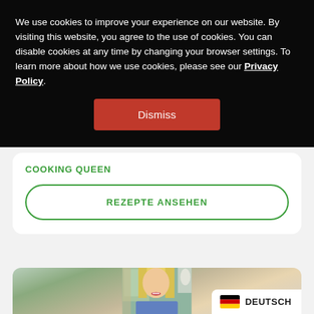We use cookies to improve your experience on our website. By visiting this website, you agree to the use of cookies. You can disable cookies at any time by changing your browser settings. To learn more about how we use cookies, please see our Privacy Policy.
Dismiss
COOKING QUEEN
REZEPTE ANSEHEN
[Figure (photo): Photo of a smiling blonde woman with red lipstick, wearing a blue top, with a window and greenery visible in the background.]
DEUTSCH